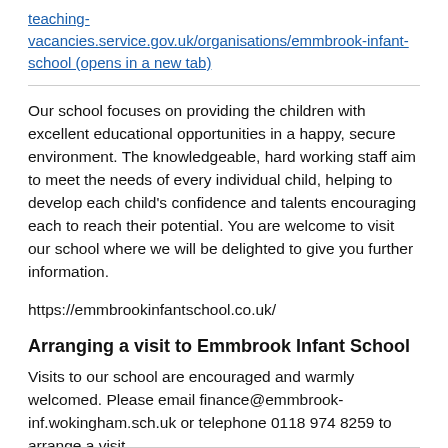teaching-vacancies.service.gov.uk/organisations/emmbrook-infant-school (opens in a new tab)
Our school focuses on providing the children with excellent educational opportunities in a happy, secure environment. The knowledgeable, hard working staff aim to meet the needs of every individual child, helping to develop each child's confidence and talents encouraging each to reach their potential. You are welcome to visit our school where we will be delighted to give you further information.
https://emmbrookinfantschool.co.uk/
Arranging a visit to Emmbrook Infant School
Visits to our school are encouraged and warmly welcomed. Please email finance@emmbrook-inf.wokingham.sch.uk or telephone 0118 974 8259 to arrange a visit.
School location